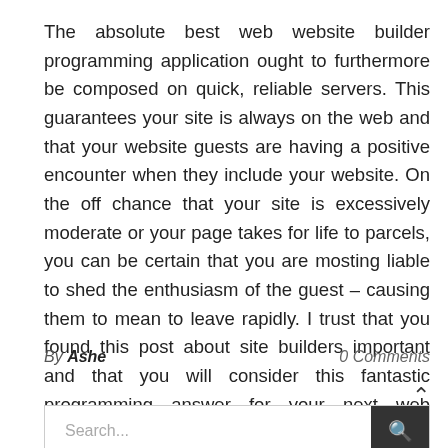The absolute best web website builder programming application ought to furthermore be composed on quick, reliable servers. This guarantees your site is always on the web and that your website guests are having a positive encounter when they include your website. On the off chance that your site is excessively moderate or your page takes for life to parcels, you can be certain that you are mosting liable to shed the enthusiasm of the guest – causing them to mean to leave rapidly. I trust that you found this post about site builders important and that you will consider this fantastic programming answer for your next web building venture.
By Ashe
0 Comments